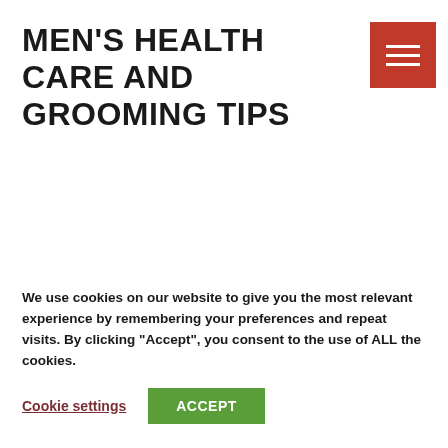MEN'S HEALTH CARE AND GROOMING TIPS
[Figure (other): Red hamburger menu button with three white horizontal lines]
We use cookies on our website to give you the most relevant experience by remembering your preferences and repeat visits. By clicking "Accept", you consent to the use of ALL the cookies.
Cookie settings
ACCEPT